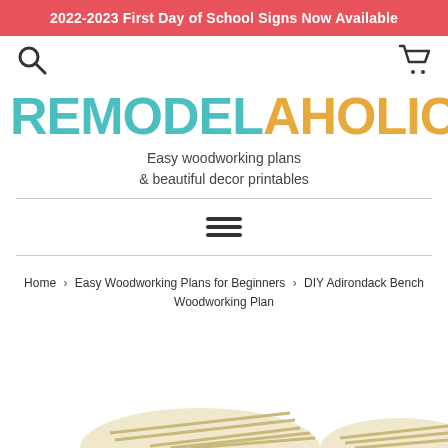2022-2023 First Day of School Signs Now Available
[Figure (logo): REMODELAHOLIC logo with teal 'REMODEL' and golden 'AHOLIC' text]
Easy woodworking plans & beautiful decor printables
Home › Easy Woodworking Plans for Beginners › DIY Adirondack Bench Woodworking Plan
[Figure (illustration): Partial illustration of DIY Adirondack Bench at bottom of page]